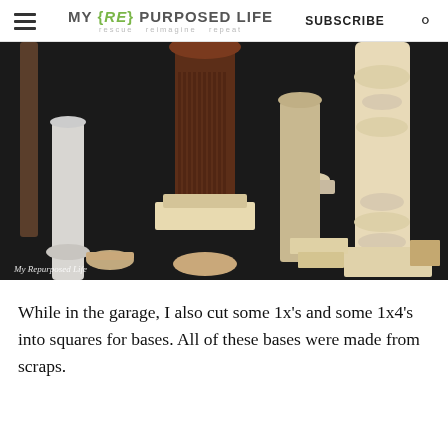MY {re} PURPOSED LIFE rescue reimagine repeat | SUBSCRIBE
[Figure (photo): Collection of wooden table legs and bases of various styles and sizes arranged on black plastic sheeting on a garage floor. Includes turned wood spindles, decorative columns, and flat square bases cut from 1x lumber scraps. Watermark reads 'My Repurposed Life'.]
While in the garage, I also cut some 1x's and some 1x4's into squares for bases. All of these bases were made from scraps.